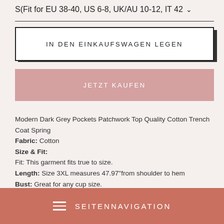S(Fit for EU 38-40, US 6-8, UK/AU 10-12, IT 42 ˅
IN DEN EINKAUFSWAGEN LEGEN
JETZT KAUFEN
Modern Dark Grey Pockets Patchwork Top Quality Cotton Trench Coat Spring
Fabric: Cotton
Size & Fit:
Fit: This garment fits true to size.
Length: Size 3XL measures 47.97" from shoulder to hem
Bust: Great for any cup size.
≡  SEITENNAVIGATION